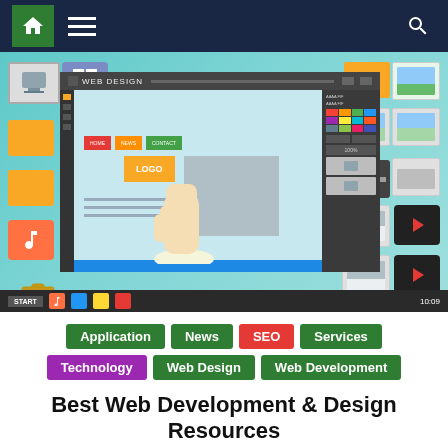[Figure (screenshot): Website navigation bar with dark navy background, green home icon on left, hamburger menu, and search icon on right]
[Figure (screenshot): Hero image showing a web design application interface with icons for various file types (music, video, folders, images) arranged around a central web design editor screen, with a hand placing a 'LOGO' element. Bottom taskbar shows START button and time 10:09]
Application
News
SEO
Services
Technology
Web Design
Web Development
Best Web Development & Design Resources
Web development is a fast paced business and if you want to stay on top of your game, you need to keep learning,